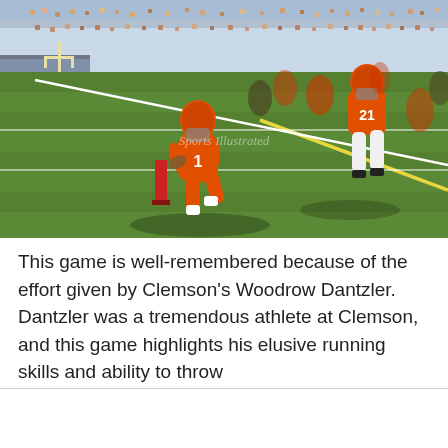[Figure (photo): Football game photo showing Clemson players in orange jerseys running on a green field. A player wearing #1 carries the ball near the end zone pylon, with player #21 visible behind him. A Sports Illustrated watermark is visible. Stands with spectators are visible in the background.]
This game is well-remembered because of the effort given by Clemson's Woodrow Dantzler.  Dantzler was a tremendous athlete at Clemson, and this game highlights his elusive running skills and ability to throw
[Figure (logo): Clemson Tigers logo — orange circular logo with a tiger illustration]
[Figure (logo): Twitter bird icon in light blue]
[Figure (logo): Facebook 'f' icon in light blue]